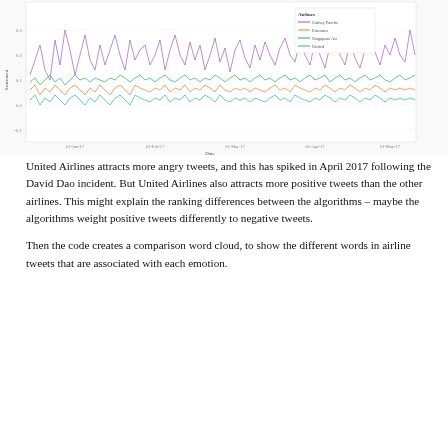[Figure (line-chart): Two sets of line charts showing airline tweet sentiment over time (Jan-Apr 2017). Left chart shows a large multi-line time series with airlines (Cathay Pacific, Emirates, Singapore Air, United) plotted. Right side shows two smaller charts with similar airline comparisons. Lines in multiple colors (purple, orange/red, green, teal/blue).]
United Airlines attracts more angry tweets, and this has spiked in April 2017 following the David Dao incident. But United Airlines also attracts more positive tweets than the other airlines. This might explain the ranking differences between the algorithms – maybe the algorithms weight positive tweets differently to negative tweets.
Then the code creates a comparison word cloud, to show the different words in airline tweets that are associated with each emotion.